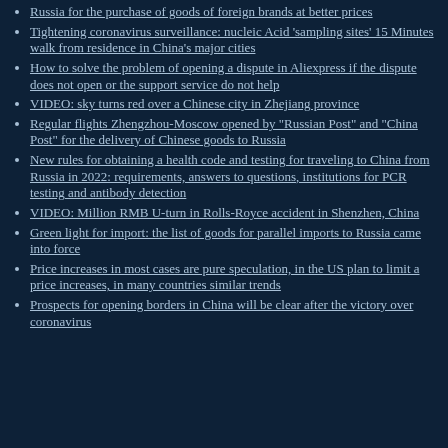Russia for the purchase of goods of foreign brands at better prices
Tightening coronavirus surveillance: nucleic Acid 'sampling sites' 15 Minutes walk from residence in China's major cities
How to solve the problem of opening a dispute in Aliexpress if the dispute does not open or the support service do not help
VIDEO: sky turns red over a Chinese city in Zhejiang province
Regular flights Zhengzhou-Moscow opened by "Russian Post" and "China Post" for the delivery of Chinese goods to Russia
New rules for obtaining a health code and testing for traveling to China from Russia in 2022: requirements, answers to questions, institutions for PCR testing and antibody detection
VIDEO: Million RMB U-turn in Rolls-Royce accident in Shenzhen, China
Green light for import: the list of goods for parallel imports to Russia came into force
Price increases in most cases are pure speculation, in the US plan to limit a price increases, in many countries similar trends
Prospects for opening borders in China will be clear after the victory over coronavirus